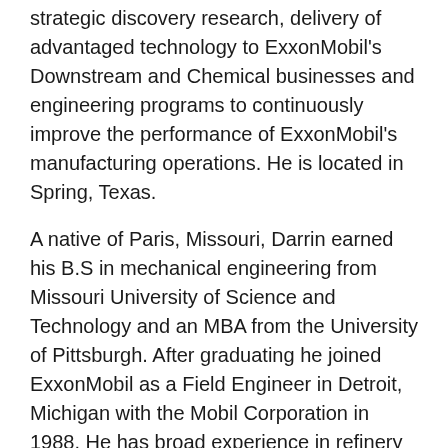strategic discovery research, delivery of advantaged technology to ExxonMobil's Downstream and Chemical businesses and engineering programs to continuously improve the performance of ExxonMobil's manufacturing operations. He is located in Spring, Texas.
A native of Paris, Missouri, Darrin earned his B.S in mechanical engineering from Missouri University of Science and Technology and an MBA from the University of Pittsburgh. After graduating he joined ExxonMobil as a Field Engineer in Detroit, Michigan with the Mobil Corporation in 1988. He has broad experience in refinery and chemical operations and plant management, fuels and lubes marketing, strategic planning. In 2011 he was named Vice